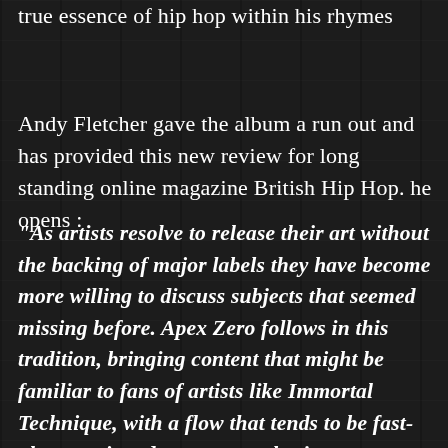true essence of hip hop within his rhymes
Andy Fletcher gave the album a run out and has provided this new review for long standing online magazine British Hip Hop. he opens :
“As artists resolve to release their art without the backing of major labels they have become more willing to discuss subjects that seemed missing before. Apex Zero follows in this tradition, bringing content that might be familiar to fans of artists like Immortal Technique, with a flow that tends to be fast-almost agitated-over atmospheric instrumentals imbued with